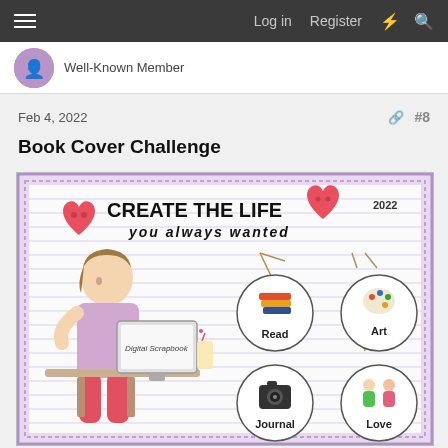Log in  Register  ⚡  🔍
Well-Known Member
Feb 4, 2022  #8
Book Cover Challenge
[Figure (illustration): A digital scrapbook book cover illustration showing a girl sitting at a computer desk, with decorative heart buttons, the title 'CREATE THE LIFE YOU ALWAYS WANTED', year 2022, and four circular tags labeled Read, Art, Journal, and Love with small icons. The background has a purple dotted border and lined paper texture.]